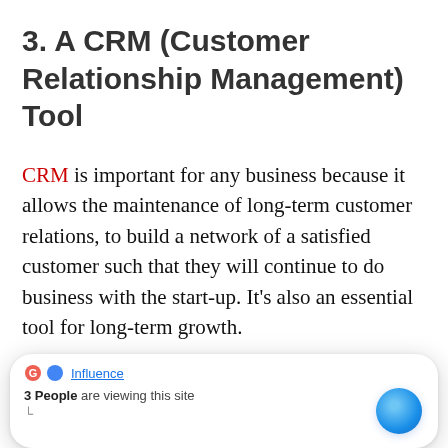3. A CRM (Customer Relationship Management) Tool
CRM is important for any business because it allows the maintenance of long-term customer relations, to build a network of a satisfied customer such that they will continue to do business with the start-up. It's also an essential tool for long-term growth.
An example of an online CRM tool would be
[Figure (screenshot): A browser overlay widget showing a Google/Influence badge and the message '3 People are viewing this site' with a blue circular button.]